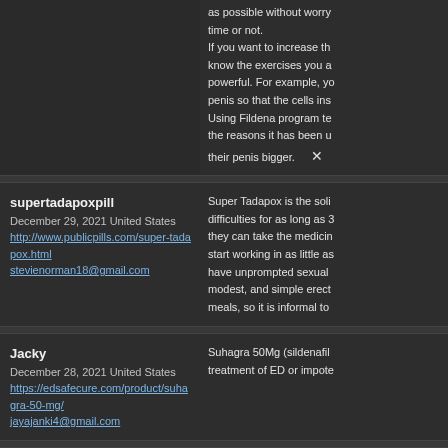as possible without worry time or not. If you want to increase th know the exercises you a powerful. For example, yo penis so that the cells ins Using Fildena program te the reasons it has been u their penis bigger.
supertadapoxpill
December 29, 2021 United States
http://www.publicpills.com/super-tadapox.html
stevienorman18@gmail.com
Super Tadapox is the soli difficulties for as long as 3 they can take the medicin start working in as little as have unprompted sexual modest, and simple erect meals, so it is informal to
Jacky
December 28, 2021 United States
https://edsafecure.com/product/suhagra-50-mg/
jayajanki4@gmail.com
Suhagra 50Mg (sildenafil treatment of ED or impote
Herbert Johnson
December 28, 2021 United States
https://www.genericday.com/silagra-100-mg.html
HerbertJohnson067@gmail.com
Silagra 100 mg tablet enh drug only works under se inhibitors. Sildenafil citrat remains active for 4 to 6 h
https://www.genericday.co
https://www.genericday.co
burke
December 28, 2021 Australia
https://tabletvilla.com/product/fildena-double-200-mg/
Fildena 200 mg often ack that contains the active fe is used to treat erectile dy